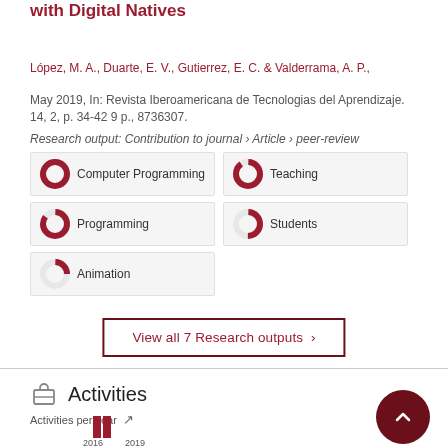with Digital Natives
López, M. A., Duarte, E. V., Gutierrez, E. C. & Valderrama, A. P., May 2019, In: Revista Iberoamericana de Tecnologias del Aprendizaje. 14, 2, p. 34-42 9 p., 8736307.
Research output: Contribution to journal › Article › peer-review
[Figure (infographic): Keyword donut badges: Computer Programming 100%, Teaching 90%, Programming 85%, Students 50%, Animation 25%]
View all 7 Research outputs ›
Activities
Activities per year
[Figure (bar-chart): Small bar chart showing activity years 2016 and 2019]